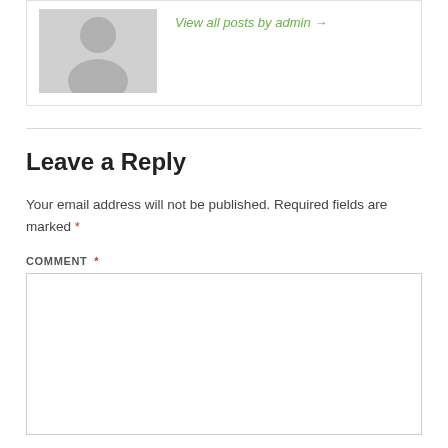[Figure (photo): Gray placeholder avatar image of a person silhouette]
View all posts by admin →
Leave a Reply
Your email address will not be published. Required fields are marked *
COMMENT *